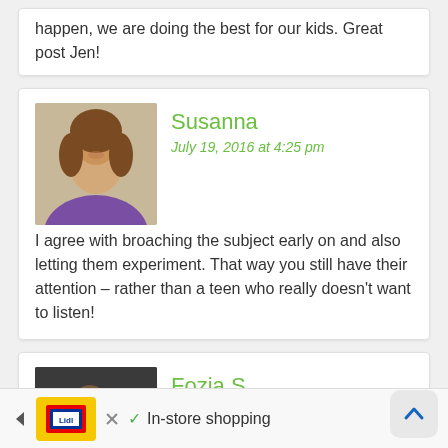happen, we are doing the best for our kids. Great post Jen!
Susanna
July 19, 2016 at 4:25 pm
I agree with broaching the subject early on and also letting them experiment. That way you still have their attention – rather than a teen who really doesn't want to listen!
Fozia S
July 19, 2016 at 4:53 pm
Some great tips. Thanks for sharing. My daughter is 10 and I do worry about internet safety.
In-store shopping